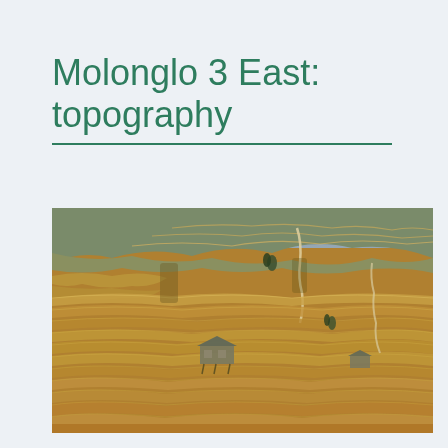Molonglo 3 East: topography
[Figure (photo): Aerial photograph of terraced hillside rice paddies with curved contour lines, a small wooden hut visible in the lower-left portion, and another structure in the mid-right. The landscape features golden-brown dry rice terraces sweeping in concentric arcs across steep slopes.]